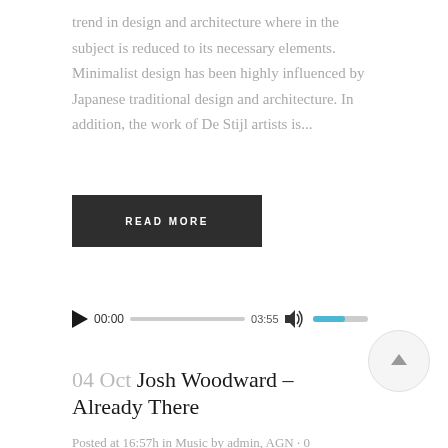trend in design and architecture where in the subject is reduced to its necessary elements. Minimalist design has been highly influenced by Japanese traditional design and architecture. In addition, the work of De Stijl artists is...
READ MORE
[Figure (other): Audio player widget showing play button, time display 00:00, progress bar, duration 03:55, volume icon, and volume bar]
04 Oct Josh Woodward – Already There
Posted at 16:57h in Music by admin, AGN · 0